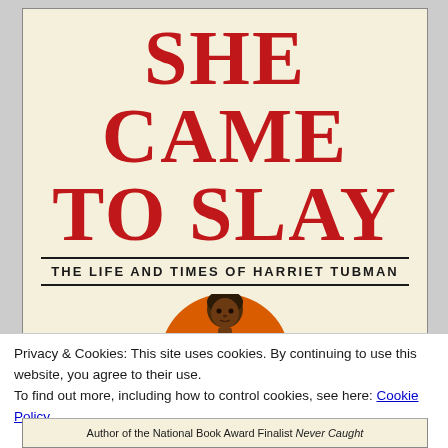[Figure (illustration): Book cover for 'She Came to Slay: The Life and Times of Harriet Tubman'. Cream/beige background with large red bold serif title text. Below the title text is a subtitle in black uppercase. An illustration shows a Black woman (Harriet Tubman) holding a pistol, set against a large orange circle, with a cream-colored dress.]
Privacy & Cookies: This site uses cookies. By continuing to use this website, you agree to their use.
To find out more, including how to control cookies, see here: Cookie Policy
Close and accept
Author of the National Book Award Finalist Never Caught